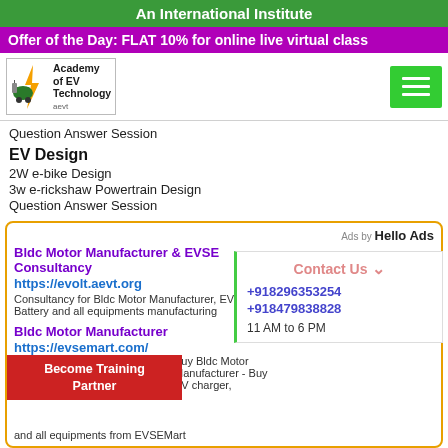An International Institute
Offer of the Day: FLAT 10% for online live virtual class
[Figure (logo): Academy of EV Technology (aevt) logo with car and charging icon]
Question Answer Session
EV Design
2W e-bike Design
3w e-rickshaw Powertrain Design
Question Answer Session
[Figure (infographic): Advertisement box: Bldc Motor Manufacturer & EVSE Consultancy, https://evolt.aevt.org, with Contact Us panel showing +918296353254, +918479838828, 11 AM to 6 PM, and Become Training Partner overlay]
Ads by Hello Ads
Bldc Motor Manufacturer & EVSE Consultancy
https://evolt.aevt.org
Consultancy for Bldc Motor Manufacturer, EV cha Battery and all equipments manufacturing
Bldc Motor Manufacturer
https://evsemart.com/
Buy Bldc Motor Manufacturer - Buy EV charger, and all equipments from EVSEMart
Contact Us
+918296353254
+918479838828
11 AM to 6 PM
Become Training Partner